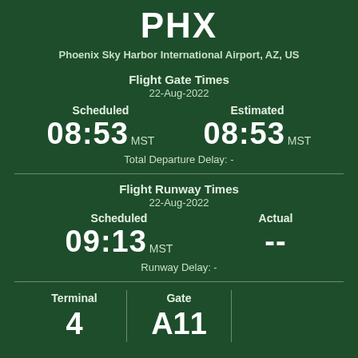PHX
Phoenix Sky Harbor International Airport, AZ, US
Flight Gate Times
22-Aug-2022
Scheduled   08:53 MST   Estimated   08:53 MST
Total Departure Delay: -
Flight Runway Times
22-Aug-2022
Scheduled   09:13 MST   Actual   --
Runway Delay: -
Terminal   4   Gate   A11